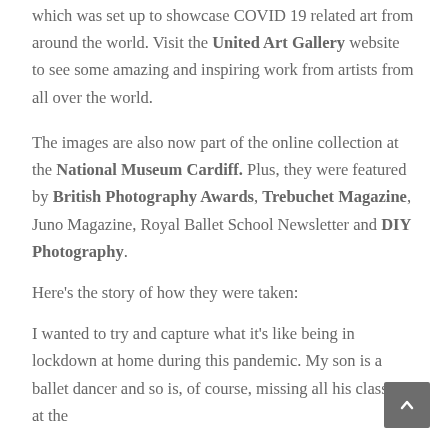which was set up to showcase COVID 19 related art from around the world. Visit the United Art Gallery website to see some amazing and inspiring work from artists from all over the world.
The images are also now part of the online collection at the National Museum Cardiff. Plus, they were featured by British Photography Awards, Trebuchet Magazine, Juno Magazine, Royal Ballet School Newsletter and DIY Photography.
Here's the story of how they were taken:
I wanted to try and capture what it's like being in lockdown at home during this pandemic. My son is a ballet dancer and so is, of course, missing all his classes at the